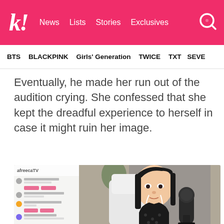k! News Lists Stories Exclusives
BTS  BLACKPINK  Girls' Generation  TWICE  TXT  SEVE
Eventually, he made her run out of the audition crying. She confessed that she kept the dreadful experience to herself in case it might ruin her image.
[Figure (screenshot): AfreecaTV livestream screenshot showing a woman with long dark hair, wearing a black outfit with earphones, sitting in a white chair in front of a microphone. Chat messages in Korean are visible on the left side of the screen.]